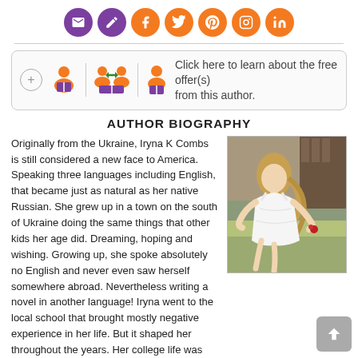[Figure (infographic): Row of social media sharing icons (email, share/edit, Facebook, Twitter, Pinterest, Instagram, LinkedIn) as colored circles — purple for email and share, orange for the rest.]
[Figure (infographic): Promotional box with a + button, two author-follow icons separated by a vertical line, and text 'Click here to learn about the free offer(s) from this author.']
AUTHOR BIOGRAPHY
[Figure (photo): Photo of a young woman with long blonde hair, wearing a white dress, posed outdoors on grass near a rustic wooden structure.]
Originally from the Ukraine, Iryna K Combs is still considered a new face to America. Speaking three languages including English, that became just as natural as her native Russian. She grew up in a town on the south of Ukraine doing the same things that other kids her age did. Dreaming, hoping and wishing. Growing up, she spoke absolutely no English and never even saw herself somewhere abroad. Nevertheless writing a novel in another language! Iryna went to the local school that brought mostly negative experience in her life. But it shaped her throughout the years. Her college life was much better. Iryna was known to study well and to go out partying as much as it was possible. In her first year of college she met her future husband in the marriage agency. When she finally got her fiancée visa, they both moved to the states, where soon after, got married. In the first few years Iryna did some modeling and acting. Photo-shoots, run-way and photo in the magazine fulfilled her childhood's dream. A few years later she became a mother